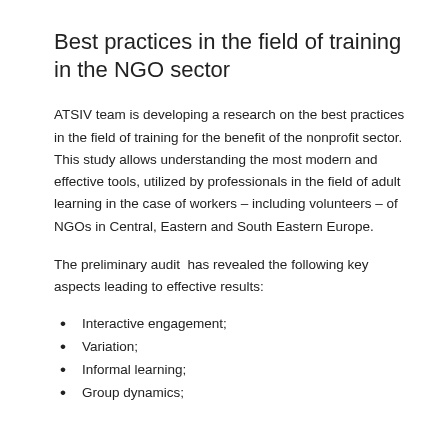Best practices in the field of training in the NGO sector
ATSIV team is developing a research on the best practices in the field of training for the benefit of the nonprofit sector. This study allows understanding the most modern and effective tools, utilized by professionals in the field of adult learning in the case of workers – including volunteers – of NGOs in Central, Eastern and South Eastern Europe.
The preliminary audit  has revealed the following key aspects leading to effective results:
Interactive engagement;
Variation;
Informal learning;
Group dynamics;